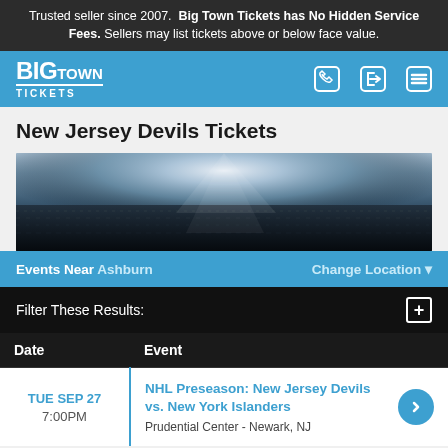Trusted seller since 2007.  Big Town Tickets has No Hidden Service Fees. Sellers may list tickets above or below face value.
[Figure (logo): Big Town Tickets logo with navigation icons (phone, login, menu) on blue header bar]
New Jersey Devils Tickets
[Figure (photo): Wide panoramic arena photo showing a packed hockey arena crowd with bright stage lights from above]
Events Near Ashburn    Change Location
Filter These Results:
| Date | Event |
| --- | --- |
| TUE SEP 27
7:00PM | NHL Preseason: New Jersey Devils vs. New York Islanders
Prudential Center - Newark, NJ |